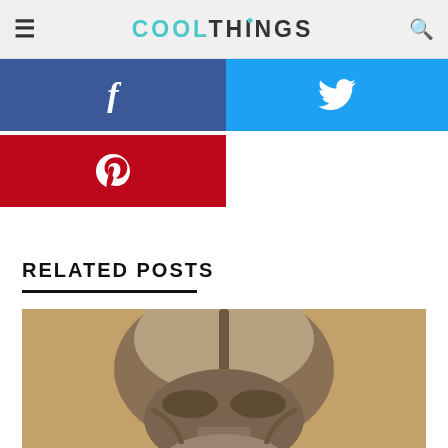COOLTHINGS
[Figure (screenshot): Facebook share button (blue background with white f icon)]
[Figure (screenshot): Twitter share button (light blue background with white bird icon)]
[Figure (screenshot): Pinterest share button (red background with white P icon)]
RELATED POSTS
[Figure (photo): Close-up photo of a Darth Vader helmet/mask in brownish-tan tones]